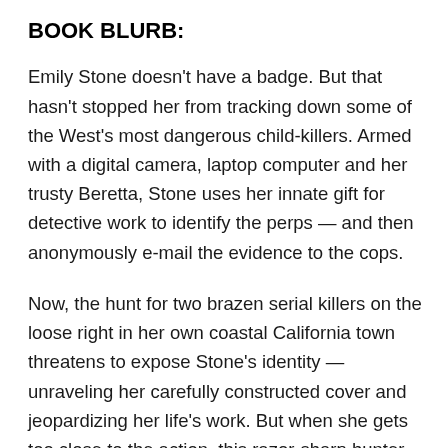BOOK BLURB:
Emily Stone doesn't have a badge. But that hasn't stopped her from tracking down some of the West's most dangerous child-killers. Armed with a digital camera, laptop computer and her trusty Beretta, Stone uses her innate gift for detective work to identify the perps — and then anonymously e-mail the evidence to the cops.
Now, the hunt for two brazen serial killers on the loose right in her own coastal California town threatens to expose Stone's identity — unraveling her carefully constructed cover and jeopardizing her life's work. But when she gets too close to the action, this razor-sharp hunter becomes the hunted. Cooperating with the handsome local police detective could be the only hope for